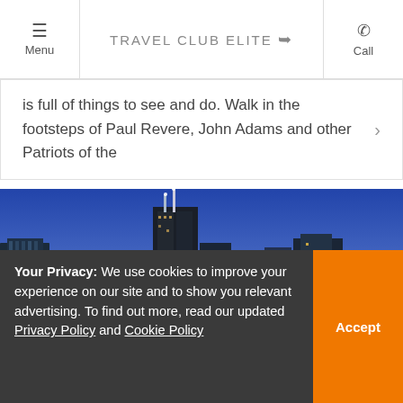Menu | TRAVEL CLUB ELITE | Call
is full of things to see and do. Walk in the footsteps of Paul Revere, John Adams and other Patriots of the
[Figure (photo): Chicago city skyline at dusk with illuminated skyscrapers against a blue and orange gradient sky]
Your Privacy: We use cookies to improve your experience on our site and to show you relevant advertising. To find out more, read our updated Privacy Policy and Cookie Policy